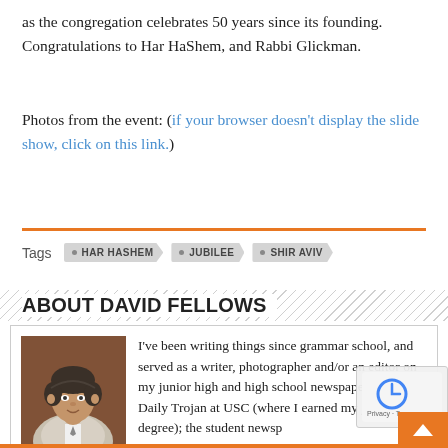as the congregation celebrates 50 years since its founding. Congratulations to Har HaShem, and Rabbi Glickman.
Photos from the event: (if your browser doesn't display the slide show, click on this link.)
HAR HASHEM
JUBILEE
SHIR AVIV
ABOUT DAVID FELLOWS
I've been writing things since grammar school, and served as a writer, photographer and/or an editor on my junior high and high school newspapers; the Daily Trojan at USC (where I earned my journalism degree); the student newspaper at the Anderson School at UCLA (where I earned my MBA) and written and edited countless business documents and presentations in the ensuing twenty years. I've been involved